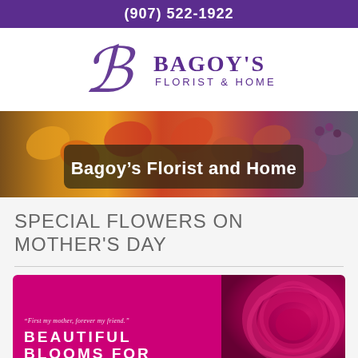(907) 522-1922
[Figure (logo): Bagoy's Florist & Home logo with decorative script B and purple text]
[Figure (photo): Hero banner with colorful flowers (yellow, orange, red, purple roses and berries) with dark overlay text reading 'Bagoy's Florist and Home']
SPECIAL FLOWERS ON MOTHER'S DAY
[Figure (photo): Promotional card split: left side magenta background with quote 'First my mother, forever my friend.' and text 'BEAUTIFUL BLOOMS FOR', right side close-up of a deep pink/magenta rose]